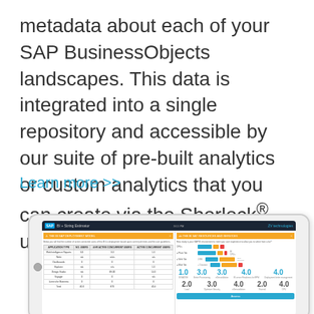metadata about each of your SAP BusinessObjects landscapes. This data is integrated into a single repository and accessible by our suite of pre-built analytics or custom analytics that you can create via the Sherlock® universe.
Learn more >>
[Figure (screenshot): Screenshot of a tablet showing the SAP BI+ Sizing Estimator application by ZV technologies, displaying BI resource deployment model tables and metrics with colored gauge bars and score numbers.]